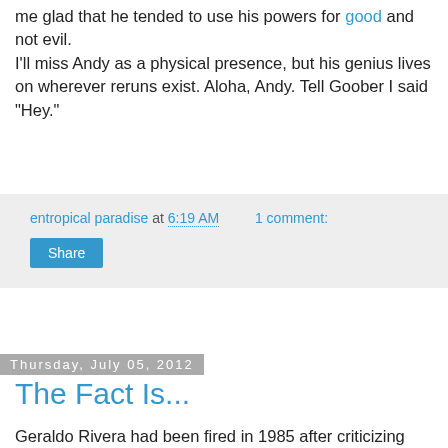me glad that he tended to use his powers for good and not evil.
I'll miss Andy as a physical presence, but his genius lives on wherever reruns exist. Aloha, Andy. Tell Goober I said "Hey."
entropical paradise at 6:19 AM    1 comment:
Share
Thursday, July 05, 2012
The Fact Is...
Geraldo Rivera had been fired in 1985 after criticizing ABC for canceling a report on an alleged relationship between John F. Kennedy and Marilyn Monroe. He then hosted the special The Mystery of My Closet which was broadcast live on July 2, 2012. The two hour special (including commercials) was greatly hyped as potentially revealing great riches or leather gear on live television. This included the presence of a taste examiner should any wire hangers be found and agents from the Fashion Police to collect any